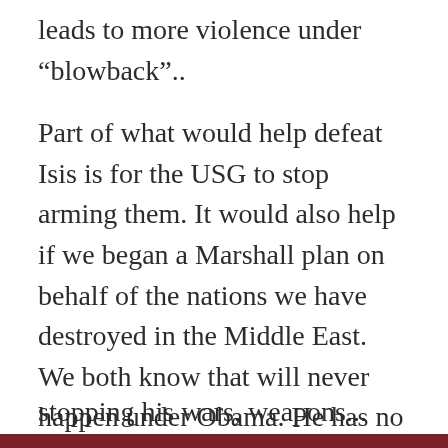leads to more violence under “blowback”..
Part of what would help defeat Isis is for the USG to stop arming them. It would also help if we began a Marshall plan on behalf of the nations we have destroyed in the Middle East. We both know that will never happen under Obama. He has no intention of stopping his wars, weapons...